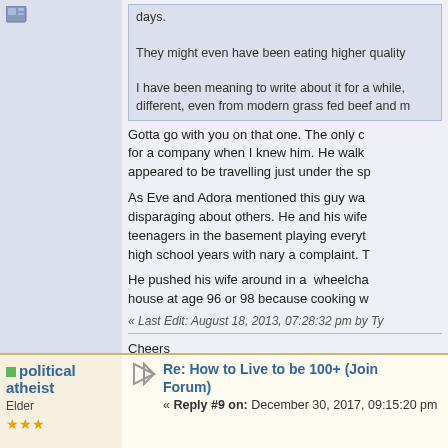[Figure (icon): User avatar/icon in top left]
days.

They might even have been eating higher quality

I have been meaning to write about it for a while, different, even from modern grass fed beef and m
Gotta go with you on that one. The only c for a company when I knew him. He walk appeared to be travelling just under the sp
As Eve and Adora mentioned this guy wa disparaging about others. He and his wife teenagers in the basement playing everyt high school years with nary a complaint. T
He pushed his wife around in a wheelchair house at age 96 or 98 because cooking w
« Last Edit: August 18, 2013, 07:28:32 pm by Ty
Cheers
Al
political atheist
Elder
Re: How to Live to be 100+ (Join Forum)
« Reply #9 on: December 30, 2017, 09:15:20 pm